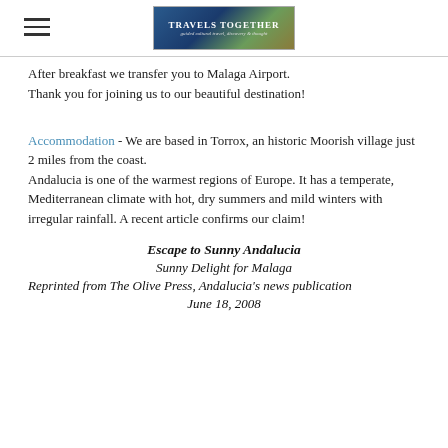Travels Together
After breakfast we transfer you to Malaga Airport. Thank you for joining us to our beautiful destination!
Accommodation - We are based in Torrox, an historic Moorish village just 2 miles from the coast. Andalucia is one of the warmest regions of Europe. It has a temperate, Mediterranean climate with hot, dry summers and mild winters with irregular rainfall.  A recent article confirms our claim!
Escape to Sunny Andalucia
Sunny Delight for Malaga
Reprinted from The Olive Press, Andalucia's news publication
June 18, 2008